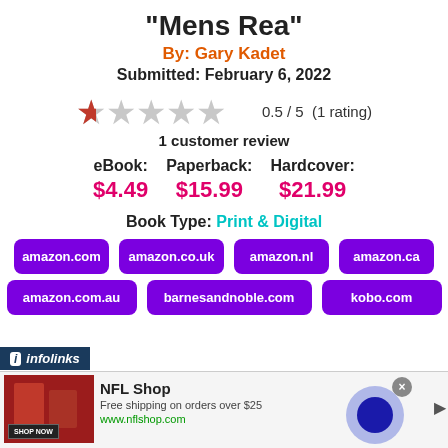"Mens Rea"
By: Gary Kadet
Submitted: February 6, 2022
[Figure (other): Star rating graphic showing 0.5 out of 5 stars (1 rating), 1 customer review]
eBook: $4.49   Paperback: $15.99   Hardcover: $21.99
Book Type: Print & Digital
amazon.com  amazon.co.uk  amazon.nl  amazon.ca  amazon.com.au  barnesandnoble.com  kobo.com
[Figure (other): Advertisement: NFL Shop - Free shipping on orders over $25, www.nflshop.com with SHOP NOW button]